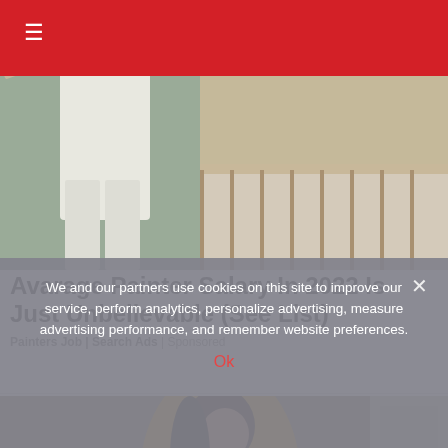☰
[Figure (photo): Person in white clothes painting a wall with a roller brush in a staircase area]
Avarage Painter Salary In 2022 Is Just Unbelievable (See List)
Painters Job | Search Ads | Sponsored
[Figure (photo): Woman in yellow top leaning forward, appearing to clean or work indoors]
We and our partners use cookies on this site to improve our service, perform analytics, personalize advertising, measure advertising performance, and remember website preferences.
Ok